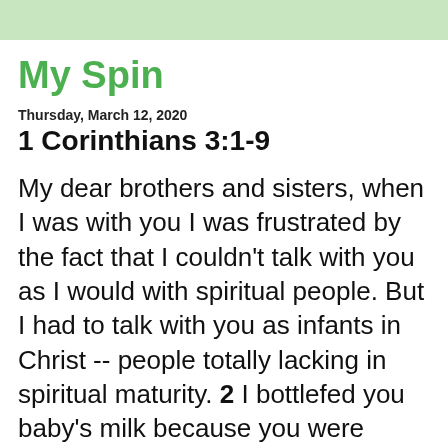My Spin
Thursday, March 12, 2020
1 Corinthians 3:1-9
My dear brothers and sisters, when I was with you I was frustrated by the fact that I couldn't talk with you as I would with spiritual people. But I had to talk with you as infants in Christ -- people totally lacking in spiritual maturity. 2 I bottlefed you baby's milk because you were unready for solid food. 3 And now it appears that you're STILL not ready --